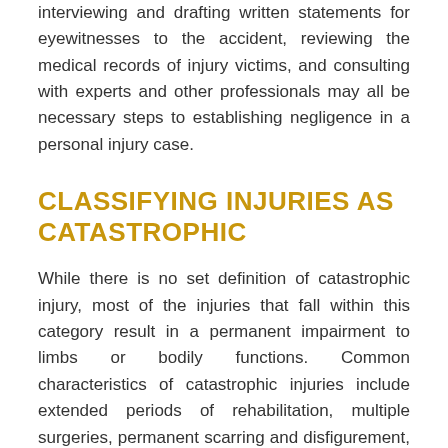interviewing and drafting written statements for eyewitnesses to the accident, reviewing the medical records of injury victims, and consulting with experts and other professionals may all be necessary steps to establishing negligence in a personal injury case.
CLASSIFYING INJURIES AS CATASTROPHIC
While there is no set definition of catastrophic injury, most of the injuries that fall within this category result in a permanent impairment to limbs or bodily functions. Common characteristics of catastrophic injuries include extended periods of rehabilitation, multiple surgeries, permanent scarring and disfigurement, and continual medical treatment, often resulting from traumatic brain injuries, amputation or